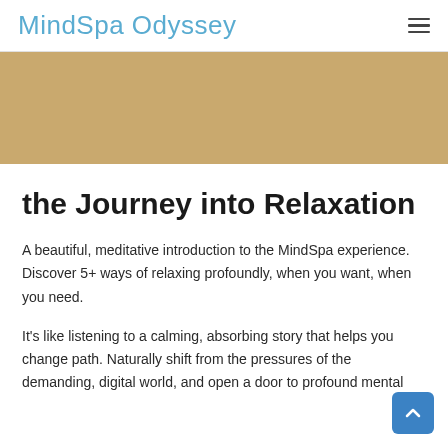MindSpa Odyssey
[Figure (illustration): Tan/beige colored banner image area below the navigation header]
the Journey into Relaxation
A beautiful, meditative introduction to the MindSpa experience. Discover 5+ ways of relaxing profoundly, when you want, when you need.
It's like listening to a calming, absorbing story that helps you change path. Naturally shift from the pressures of the demanding, digital world, and open a door to profound mental